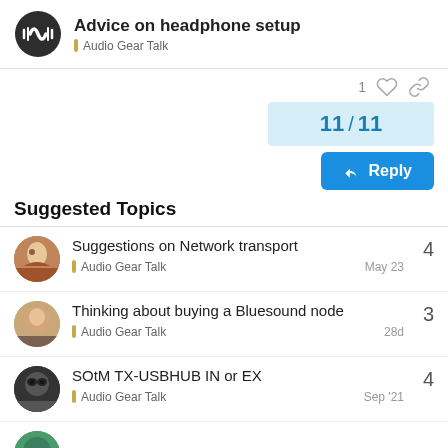Advice on headphone setup — Audio Gear Talk
1 ♡ 🔗
11 / 11
↩ Reply
Suggested Topics
Suggestions on Network transport
Audio Gear Talk
4
May 23
Thinking about buying a Bluesound node
Audio Gear Talk
3
28d
SOtM TX-USBHUB IN or EX
Audio Gear Talk
4
Sep '21